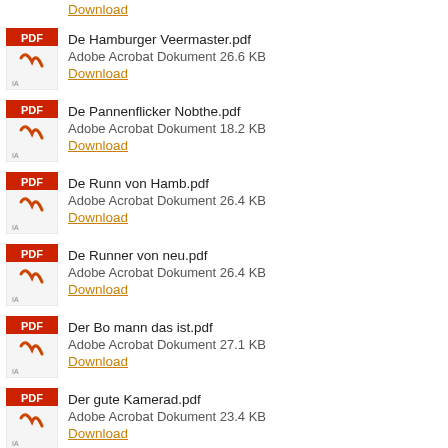Download (top partial)
De Hamburger Veermaster.pdf
Adobe Acrobat Dokument 26.6 KB
Download
De Pannenflicker Nobthe.pdf
Adobe Acrobat Dokument 18.2 KB
Download
De Runn von Hamb.pdf
Adobe Acrobat Dokument 26.4 KB
Download
De Runner von neu.pdf
Adobe Acrobat Dokument 26.4 KB
Download
Der Bo mann das ist.pdf
Adobe Acrobat Dokument 27.1 KB
Download
Der gute Kamerad.pdf
Adobe Acrobat Dokument 23.4 KB
Download
Der kleineTrommler.pdf (partial)